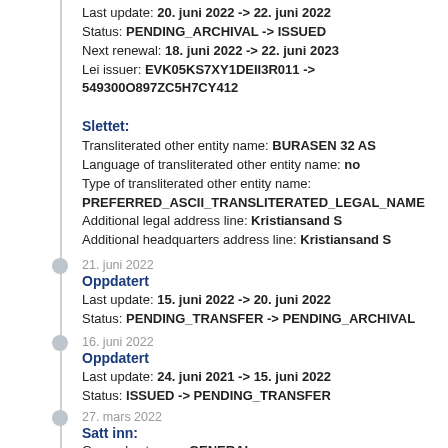Last update: 20. juni 2022 -> 22. juni 2022
Status: PENDING_ARCHIVAL -> ISSUED
Next renewal: 18. juni 2022 -> 22. juni 2023
Lei issuer: EVK05KS7XY1DEII3R011 -> 549300O897ZC5H7CY412
Slettet:
Transliterated other entity name: BURASEN 32 AS
Language of transliterated other entity name: no
Type of transliterated other entity name: PREFERRED_ASCII_TRANSLITERATED_LEGAL_NAME
Additional legal address line: Kristiansand S
Additional headquarters address line: Kristiansand S
21. juni 2022
Oppdatert
Last update: 15. juni 2022 -> 20. juni 2022
Status: PENDING_TRANSFER -> PENDING_ARCHIVAL
16. juni 2022
Oppdatert
Last update: 24. juni 2021 -> 15. juni 2022
Status: ISSUED -> PENDING_TRANSFER
27. mars 2022
Satt inn:
General category: GENERAL